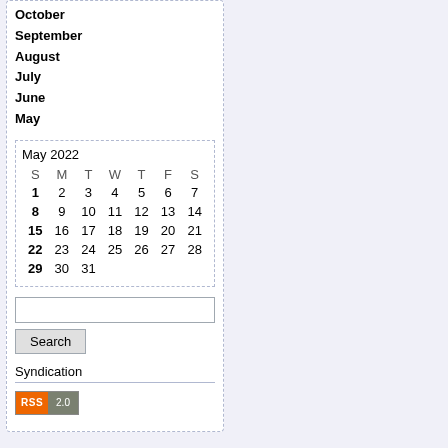October
September
August
July
June
May
| S | M | T | W | T | F | S |
| --- | --- | --- | --- | --- | --- | --- |
| 1 | 2 | 3 | 4 | 5 | 6 | 7 |
| 8 | 9 | 10 | 11 | 12 | 13 | 14 |
| 15 | 16 | 17 | 18 | 19 | 20 | 21 |
| 22 | 23 | 24 | 25 | 26 | 27 | 28 |
| 29 | 30 | 31 |  |  |  |  |
Search
Syndication
[Figure (other): RSS 2.0 badge]